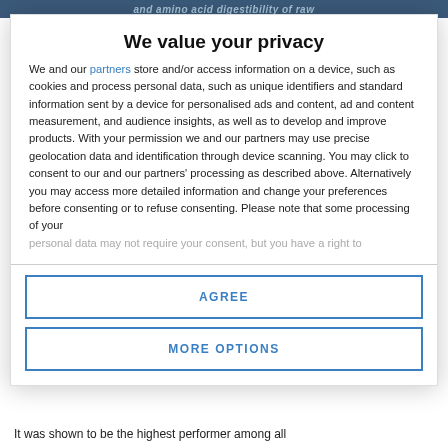and amino acid digestibility of raw
We value your privacy
We and our partners store and/or access information on a device, such as cookies and process personal data, such as unique identifiers and standard information sent by a device for personalised ads and content, ad and content measurement, and audience insights, as well as to develop and improve products. With your permission we and our partners may use precise geolocation data and identification through device scanning. You may click to consent to our and our partners' processing as described above. Alternatively you may access more detailed information and change your preferences before consenting or to refuse consenting. Please note that some processing of your personal data may not require your consent, but you have a right to
AGREE
MORE OPTIONS
It was shown to be the highest performer among all